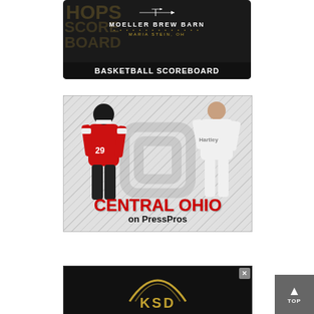[Figure (advertisement): Moeller Brew Barn advertisement with Basketball Scoreboard banner. Dark background with gold watermark text 'HOPS SCOREBOARD', centered logo with arrow/weathervane icon, 'MOELLER BREW BARN' text, 'MARIA STEIN, OH', and a 'BASKETBALL SCOREBOARD' black bar at bottom.]
[Figure (advertisement): Central Ohio on PressPros advertisement. Diagonal striped gray background, football player in red Hartley jersey #29 on left, female basketball player in white Hartley jersey on right, large Ohio State 'O' watermark in center, 'CENTRAL OHIO' in bold red text, 'on PressPros' in black below.]
[Figure (advertisement): KSD advertisement. Dark background showing partial KSD logo (arc/dome shape above KSD letters in gold), with X close button in top right corner.]